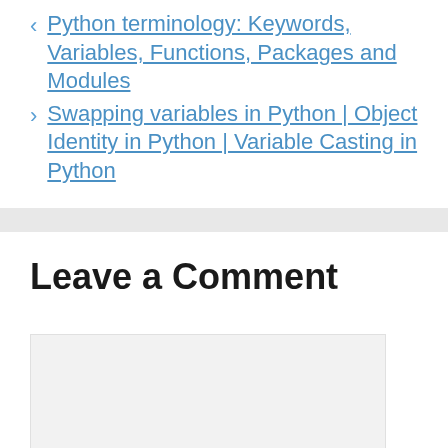< Python terminology: Keywords, Variables, Functions, Packages and Modules
> Swapping variables in Python | Object Identity in Python | Variable Casting in Python
Leave a Comment